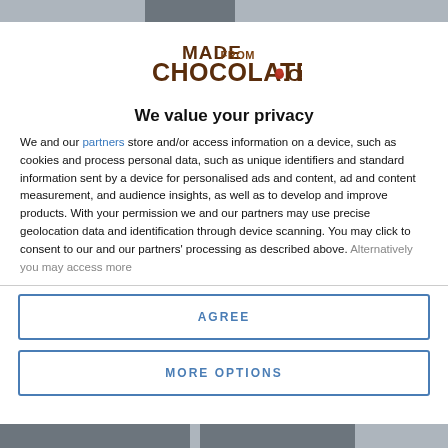[Figure (logo): MadeFromChocolate.com logo in brown and chocolate colors]
We value your privacy
We and our partners store and/or access information on a device, such as cookies and process personal data, such as unique identifiers and standard information sent by a device for personalised ads and content, ad and content measurement, and audience insights, as well as to develop and improve products. With your permission we and our partners may use precise geolocation data and identification through device scanning. You may click to consent to our and our partners' processing as described above. Alternatively you may access more
AGREE
MORE OPTIONS